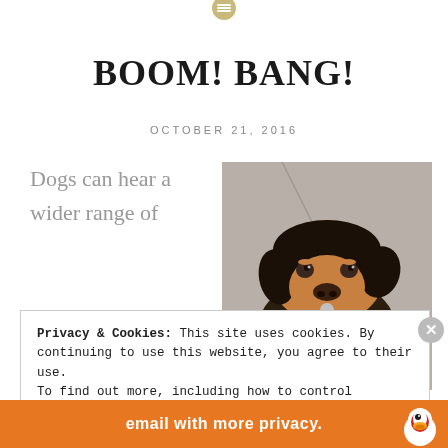[Figure (logo): Small circular icon/logo at top center of page]
BOOM! BANG!
OCTOBER 21, 2016
Dogs can hear a wider range of
[Figure (photo): Close-up photo of a dog wearing an orange and black harness, looking up at the camera]
Privacy & Cookies: This site uses cookies. By continuing to use this website, you agree to their use.
To find out more, including how to control cookies, see here: Cookie Policy
Close and accept
[Figure (infographic): Orange advertisement banner at bottom reading 'email with more privacy.' with DuckDuckGo duck logo]